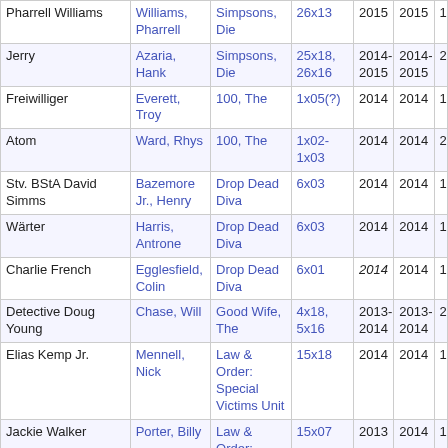| Character | Actor | Show | Episode(s) | Year (Start) | Year (End) |  |
| --- | --- | --- | --- | --- | --- | --- |
| Pharrell Williams | Williams, Pharrell | Simpsons, Die | 26x13 | 2015 | 2015 | 1 |
| Jerry | Azaria, Hank | Simpsons, Die | 25x18, 26x16 | 2014-2015 | 2014-2015 | 2 |
| Freiwilliger | Everett, Troy | 100, The | 1x05(?) | 2014 | 2014 | 1 |
| Atom | Ward, Rhys | 100, The | 1x02-1x03 | 2014 | 2014 | 2 |
| Stv. BStA David Simms | Bazemore Jr., Henry | Drop Dead Diva | 6x03 | 2014 | 2014 | 1 |
| Wärter | Harris, Antrone | Drop Dead Diva | 6x03 | 2014 | 2014 | 1 |
| Charlie French | Egglesfield, Colin | Drop Dead Diva | 6x01 | 2014 | 2014 | 1 |
| Detective Doug Young | Chase, Will | Good Wife, The | 4x18, 5x16 | 2013-2014 | 2013-2014 | 2 |
| Elias Kemp Jr. | Mennell, Nick | Law & Order: Special Victims Unit | 15x18 | 2014 | 2014 | 1 |
| Jackie Walker | Porter, Billy | Law & Order: Special Victims Unit | 15x07 | 2013 | 2014 | 1 |
| David Robbins | McClain, Johnathan | Retired at 35 | 1x01-2x10 | 2011-2012 | 2013-2014 | 20 |
| Aaron Pittman | Orth, Zak | Revolution | 1x01-1x20 | 2012-2013 | 2014 | 20 |
| Tätowierer |  | Simpsons, Die | 25x22 | 2014 | 2014 | 1 |
| Jennys Partner | Azaria, Hank | Simpsons, | 25x19 | 2014 | 2014 |  |